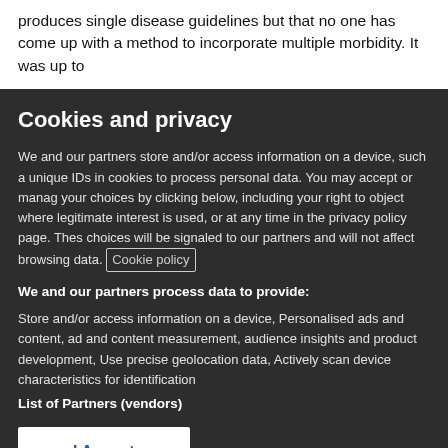produces single disease guidelines but that no one has come up with a method to incorporate multiple morbidity. It was up to
Cookies and privacy
We and our partners store and/or access information on a device, such a unique IDs in cookies to process personal data. You may accept or manage your choices by clicking below, including your right to object where legitimate interest is used, or at any time in the privacy policy page. These choices will be signaled to our partners and will not affect browsing data. Cookie policy
We and our partners process data to provide:
Store and/or access information on a device, Personalised ads and content, ad and content measurement, audience insights and product development, Use precise geolocation data, Actively scan device characteristics for identification
List of Partners (vendors)
I Accept